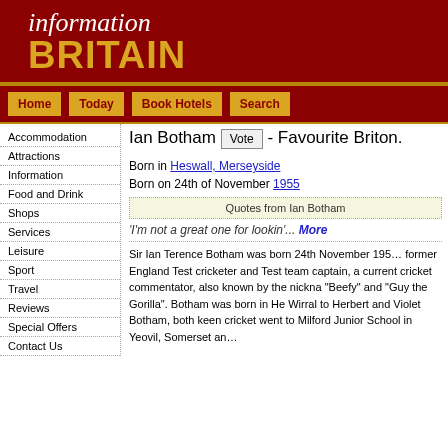information BRITAIN
Home
Today
Book Hotels
Search
Accommodation
Attractions
Information
Food and Drink
Shops
Services
Leisure
Sport
Travel
Reviews
Special Offers
Contact Us
Ian Botham Vote - Favourite Briton.
Born in Heswall, Merseyside
Born on 24th of November 1955
Quotes from Ian Botham
'I'm not a great one for lookin'... More
Sir Ian Terence Botham was born 24th November 195… former England Test cricketer and Test team captain, a current cricket commentator, also known by the nickna "Beefy" and "Guy the Gorilla". Botham was born in He Wirral to Herbert and Violet Botham, both keen cricket went to Milford Junior School in Yeovil, Somerset an…